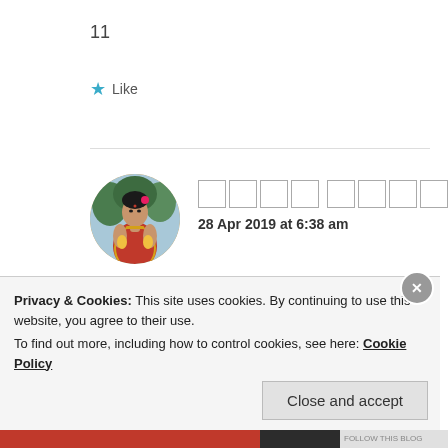11
★ Like
[Figure (photo): Circular avatar photo of a woman in traditional Indian attire (red and gold saree), with decorative background]
□□□□ □□□□
28 Apr 2019 at 6:38 am
ok
Privacy & Cookies: This site uses cookies. By continuing to use this website, you agree to their use.
To find out more, including how to control cookies, see here: Cookie Policy
Close and accept